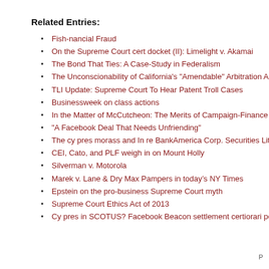Related Entries:
Fish-nancial Fraud
On the Supreme Court cert docket (II): Limelight v. Akamai
The Bond That Ties: A Case-Study in Federalism
The Unconscionability of California's "Amendable" Arbitration A
TLI Update: Supreme Court To Hear Patent Troll Cases
Businessweek on class actions
In the Matter of McCutcheon: The Merits of Campaign-Finance "
"A Facebook Deal That Needs Unfriending"
The cy pres morass and In re BankAmerica Corp. Securities Litig
CEI, Cato, and PLF weigh in on Mount Holly
Silverman v. Motorola
Marek v. Lane & Dry Max Pampers in today’s NY Times
Epstein on the pro-business Supreme Court myth
Supreme Court Ethics Act of 2013
Cy pres in SCOTUS? Facebook Beacon settlement certiorari petit
P